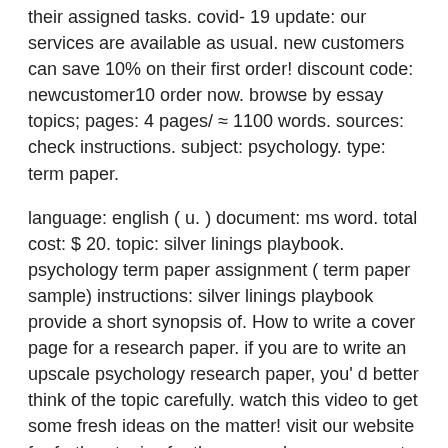their assigned tasks. covid- 19 update: our services are available as usual. new customers can save 10% on their first order! discount code: newcustomer10 order now. browse by essay topics; pages: 4 pages/ ≈ 1100 words. sources: check instructions. subject: psychology. type: term paper.
language: english ( u. ) document: ms word. total cost: $ 20. topic: silver linings playbook. psychology term paper assignment ( term paper sample) instructions: silver linings playbook provide a short synopsis of. How to write a cover page for a research paper. if you are to write an upscale psychology research paper, you' d better think of the topic carefully. watch this video to get some fresh ideas on the matter! visit our website for further. topics for the research paper are not easy to find since there are different fields that have been already exhausted from the beginning of the year, but you can always go for an area of interest.
in order to choose great research paper titles and interesting things to research, taking some time and contemplate on what makes you be passionate about a certain subject is a good